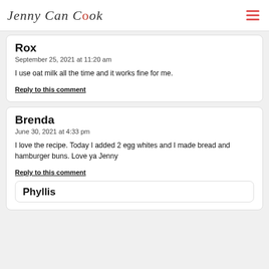Jenny Can Cook
Rox
September 25, 2021 at 11:20 am

I use oat milk all the time and it works fine for me.

Reply to this comment
Brenda
June 30, 2021 at 4:33 pm

I love the recipe. Today I added 2 egg whites and I made bread and hamburger buns. Love ya Jenny

Reply to this comment
Phyllis